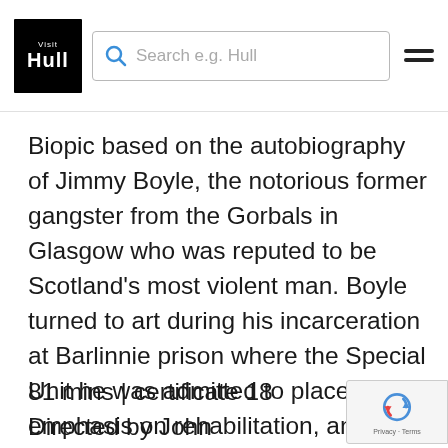Hull | Search e.g. Hull
Biopic based on the autobiography of Jimmy Boyle, the notorious former gangster from the Gorbals in Glasgow who was reputed to be Scotland's most violent man. Boyle turned to art during his incarceration at Barlinnie prison where the Special Unit he was admitted to placed an emphasis on rehabilitation, and after his release Boyle became a sculptor and novelist. Please note attendees must be over 18.
81 mins | certificate 18
Directed by John Mackenzie
[Figure (other): Google reCAPTCHA privacy badge with refresh icon]